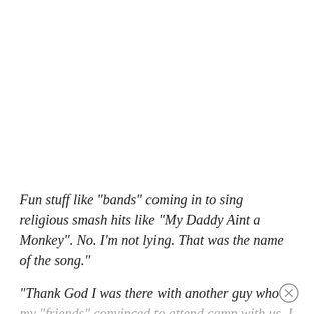Fun stuff like "bands" coming in to sing religious smash hits like "My Daddy Aint a Monkey". No. I'm not lying. That was the name of the song."
"Thank God I was there with another guy who my "friends" convinced to attend camp with us. I eventually confronted them about their lie and